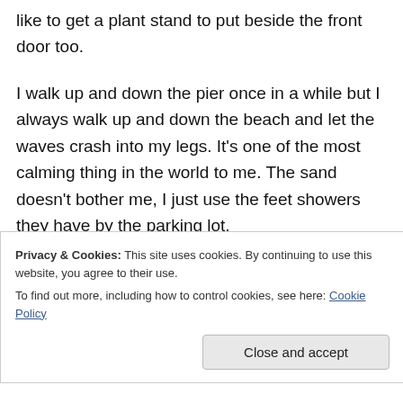like to get a plant stand to put beside the front door too.

I walk up and down the pier once in a while but I always walk up and down the beach and let the waves crash into my legs. It's one of the most calming thing in the world to me. The sand doesn't bother me, I just use the feet showers they have by the parking lot.

I've been looking for read-along to join. I wish I'd known about the one for The Green Mile
Privacy & Cookies: This site uses cookies. By continuing to use this website, you agree to their use.
To find out more, including how to control cookies, see here: Cookie Policy